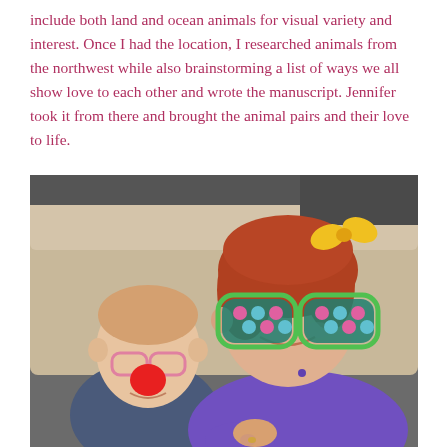include both land and ocean animals for visual variety and interest. Once I had the location, I researched animals from the northwest while also brainstorming a list of ways we all show love to each other and wrote the manuscript. Jennifer took it from there and brought the animal pairs and their love to life.
[Figure (photo): A woman wearing oversized novelty green glasses with colorful polka dots and a yellow bow in her hair sits on a couch smiling, next to a young child wearing pink glasses and a red clown nose. The woman is wearing a purple polo shirt.]